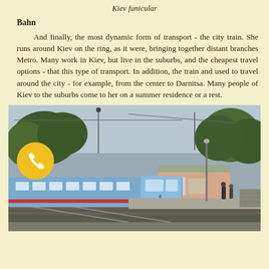Kiev funicular
Bahn
And finally, the most dynamic form of transport - the city train. She runs around Kiev on the ring, as it were, bringing together distant branches Metro. Many work in Kiev, but live in the suburbs, and the cheapest travel options - that this type of transport. In addition, the train and used to travel around the city - for example, from the center to Darnitsa. Many people of Kiev to the suburbs come to her on a summer residence or a rest.
[Figure (photo): A blue commuter train at a suburban Kiev railway station platform with trees in the background and a small station building. A yellow phone icon is overlaid in the lower left area of the image.]